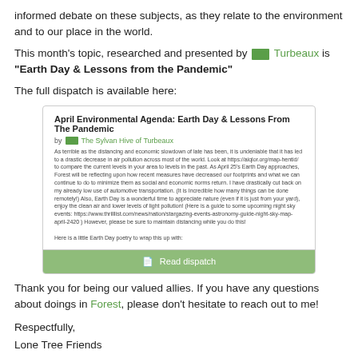informed debate on these subjects, as they relate to the environment and to our place in the world.
This month's topic, researched and presented by [Turbeaux flag] Turbeaux is "Earth Day & Lessons from the Pandemic"
The full dispatch is available here:
[Figure (screenshot): Embedded dispatch preview card titled 'April Environmental Agenda: Earth Day & Lessons From The Pandemic' by The Sylvan Hive of Turbeaux, with a green 'Read dispatch' button.]
Thank you for being our valued allies. If you have any questions about doings in Forest, please don't hesitate to reach out to me!
Respectfully,
Lone Tree Friends
Ambassador of Forest
♥ Asturies-Llion, Caracasus 👤 , Nottinhaps 👤 , Llorens 👤 , and 6 others
The Rosy Red Republics of      2 years 131 days ago